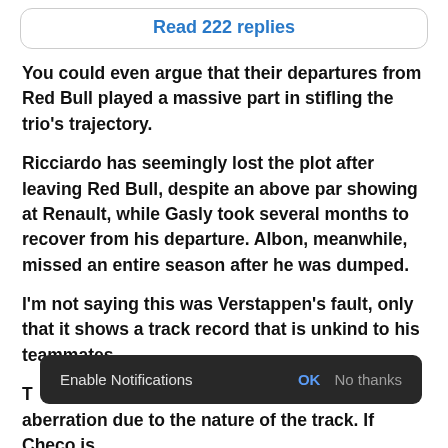Read 222 replies
You could even argue that their departures from Red Bull played a massive part in stifling the trio's trajectory.
Ricciardo has seemingly lost the plot after leaving Red Bull, despite an above par showing at Renault, while Gasly took several months to recover from his departure. Albon, meanwhile, missed an entire season after he was dumped.
I'm not saying this was Verstappen's fault, only that it shows a track record that is unkind to his teammates.
T… an aberration due to the nature of the track. If Checo is
Enable Notifications  OK  No thanks